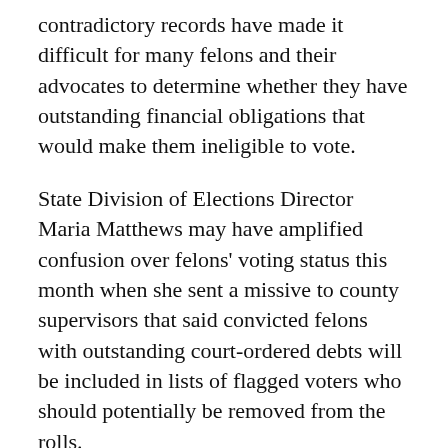contradictory records have made it difficult for many felons and their advocates to determine whether they have outstanding financial obligations that would make them ineligible to vote.
State Division of Elections Director Maria Matthews may have amplified confusion over felons' voting status this month when she sent a missive to county supervisors that said convicted felons with outstanding court-ordered debts will be included in lists of flagged voters who should potentially be removed from the rolls.
Under a process that's long been in place, state elections officials screen voter-registration applications for eligibility and send lists of flagged people to county supervisors of elections. Local